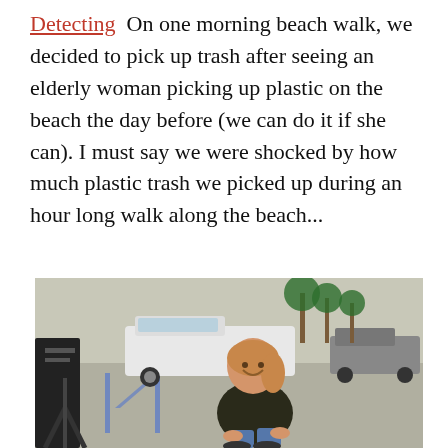Detecting On one morning beach walk, we decided to pick up trash after seeing an elderly woman picking up plastic on the beach the day before (we can do it if she can). I must say we were shocked by how much plastic trash we picked up during an hour long walk along the beach...
[Figure (photo): A smiling woman crouching in a parking lot near a vehicle, holding something in her hands. White pickup truck and palm trees visible in the background.]